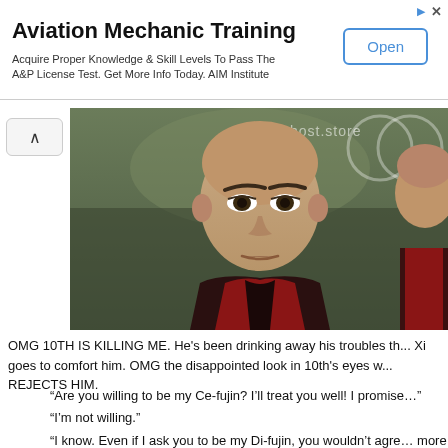[Figure (infographic): Advertisement banner for Aviation Mechanic Training by AIM Institute with an Open button]
[Figure (photo): A still from a Chinese historical drama showing a young man with a shaved head wearing a dark red/black robe, looking serious. A watermark 'host.store' is visible in the top right. A second person is partially visible on the right edge.]
OMG 10TH IS KILLING ME. He's been drinking away his troubles th... Xi goes to comfort him. OMG the disappointed look in 10th's eyes w... REJECTS HIM.
“Are you willing to be my Ce-fujin? I’ll treat you well! I promise...” “I’m not willing.” “I know. Even if I ask you to be my Di-fujin, you wouldn’t agre... more impossible.”